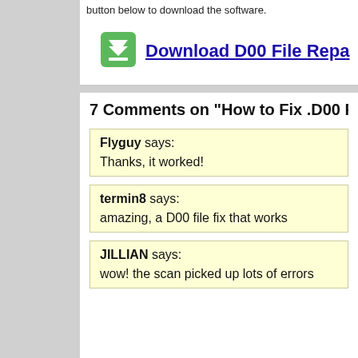button below to download the software.
[Figure (other): Green download button icon with double chevron/checkmark]
Download D00 File Repa
7 Comments on "How to Fix .D00 F
Flyguy says:
Thanks, it worked!
termin8 says:
amazing, a D00 file fix that works
JILLIAN says:
wow! the scan picked up lots of errors